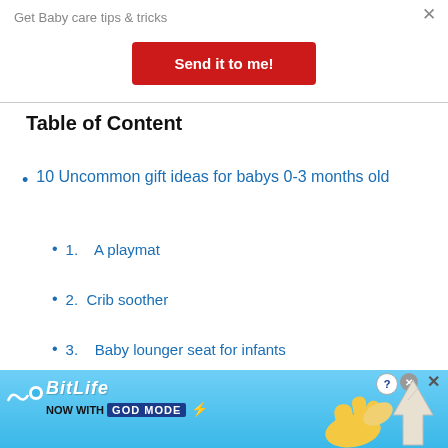Get Baby care tips & tricks
Send it to me!
Table of Content
10 Uncommon gift ideas for babys 0-3 months old
1.    A playmat
2.   Crib soother
3.    Baby lounger seat for infants
[Figure (screenshot): BitLife advertisement banner with 'NOW WITH GOD MODE' text and pointing hand graphic on a blue background]